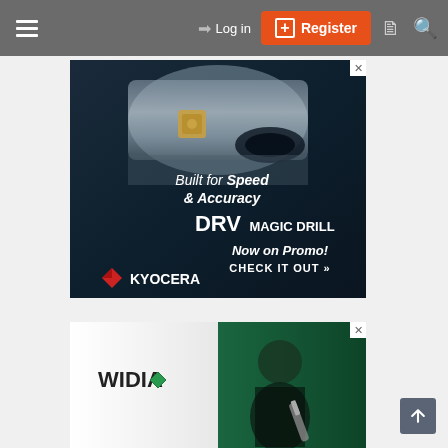Navigation bar with hamburger menu, Log in, Register, and search icons
[Figure (photo): Kyocera DRV Magic Drill advertisement. Dark blue/steel background showing a precision drill tool with carbide insert. Text reads: 'Built for Speed & Accuracy', 'DRV MAGIC DRILL', 'Now on Promo! CHECK IT OUT »', Kyocera logo bottom left.]
[Figure (photo): WIDIA advertisement showing a man in dark clothing holding a drill tool on a green-tinted background. WIDIA logo with green diamond graphic visible on left side.]